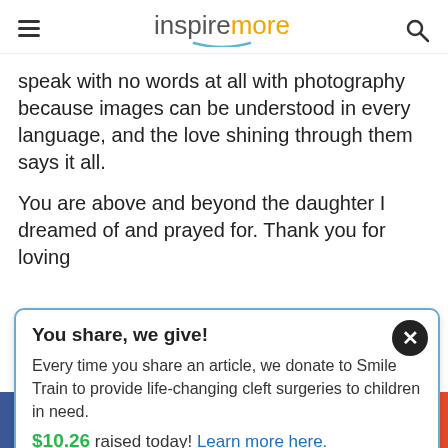inspiremore
speak with no words at all with photography because images can be understood in every language, and the love shining through them says it all.
You are above and beyond the daughter I dreamed of and prayed for. Thank you for loving
You share, we give! Every time you share an article, we donate to Smile Train to provide life-changing cleft surgeries to children in need. $10.26 raised today! Learn more here.
f  Twitter  Pinterest  Reddit  Email  +